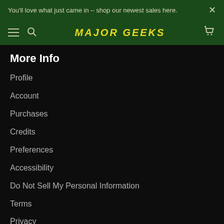You'll love what just came in – shop our newest sales here.
MAJOR GEEKS
More Info
Profile
Account
Purchases
Credits
Preferences
Accessibility
Do Not Sell My Personal Information
Terms
Privacy
[Figure (logo): BBB Accredited Business badge]
Made in Venice, CA & powered by stackcommerce